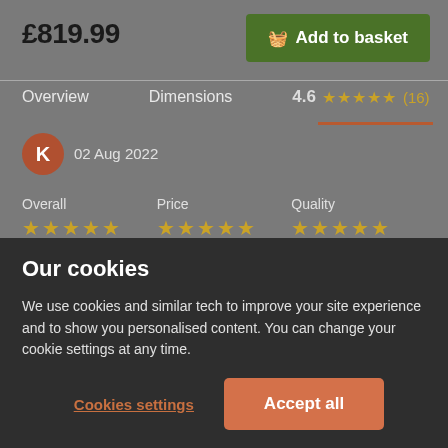£819.99
Add to basket
Overview
Dimensions
4.6 ★★★★★ (16)
02 Aug 2022
Overall ★★★★★
Price ★★★★★
Quality ★★★★★
Townhouse Oval Oak Extending Dining Table with 6 Bowley Stone Grey Leather Chairs
Our cookies
We use cookies and similar tech to improve your site experience and to show you personalised content. You can change your cookie settings at any time.
Cookies settings
Accept all